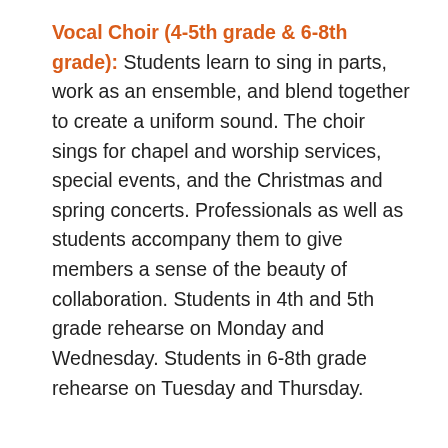Vocal Choir (4-5th grade & 6-8th grade): Students learn to sing in parts, work as an ensemble, and blend together to create a uniform sound. The choir sings for chapel and worship services, special events, and the Christmas and spring concerts. Professionals as well as students accompany them to give members a sense of the beauty of collaboration. Students in 4th and 5th grade rehearse on Monday and Wednesday. Students in 6-8th grade rehearse on Tuesday and Thursday.